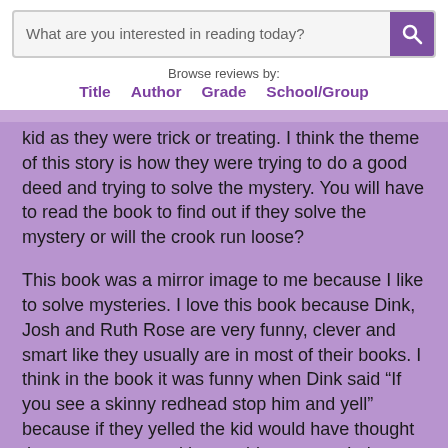What are you interested in reading today?
Browse reviews by:
Title   Author   Grade   School/Group
kid as they were trick or treating. I think the theme of this story is how they were trying to do a good deed and trying to solve the mystery. You will have to read the book to find out if they solve the mystery or will the crook run loose?
This book was a mirror image to me because I like to solve mysteries. I love this book because Dink, Josh and Ruth Rose are very funny, clever and smart like they usually are in most of their books. I think in the book it was funny when Dink said “If you see a skinny redhead stop him and yell” because if they yelled the kid would have thought they were crazy and he would run away. I also thought it was funny when Josh was being sarcastic and he said to Dink “You just look like a skinny third grader wearing false teeth” Lastly, I thought it was unique when the barber was like “All six of ‘em nice kids and every last one is a red head” when he was talking about